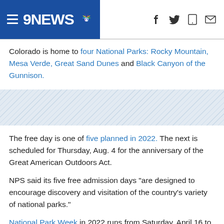9NEWS
Colorado is home to four National Parks: Rocky Mountain, Mesa Verde, Great Sand Dunes and Black Canyon of the Gunnison.
[Figure (other): Diagonal stripe decorative banner element]
The free day is one of five planned in 2022. The next is scheduled for Thursday, Aug. 4 for the anniversary of the Great American Outdoors Act.
NPS said its five free admission days "are designed to encourage discovery and visitation of the country's variety of national parks."
National Park Week in 2022 runs from Saturday, April 16 to Sunday, April 24. Visitors are encouraged to begin their trip